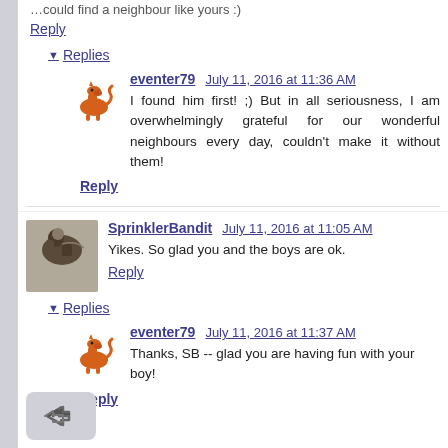...could find a neighbour like yours :)
Reply
Replies
eventer79  July 11, 2016 at 11:36 AM
I found him first! ;) But in all seriousness, I am overwhelmingly grateful for our wonderful neighbours every day, couldn't make it without them!
Reply
SprinklerBandit  July 11, 2016 at 11:05 AM
Yikes. So glad you and the boys are ok.
Reply
Replies
eventer79  July 11, 2016 at 11:37 AM
Thanks, SB -- glad you are having fun with your boy!
Reply